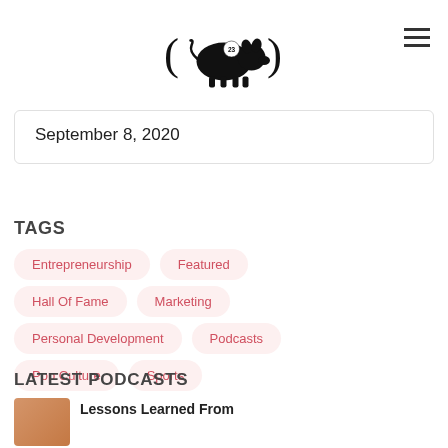[Figure (logo): Pig logo with number 23 and parentheses, black silhouette]
September 8, 2020
TAGS
Entrepreneurship
Featured
Hall Of Fame
Marketing
Personal Development
Podcasts
Pop Culture
Sports
LATEST PODCASTS
Lessons Learned From